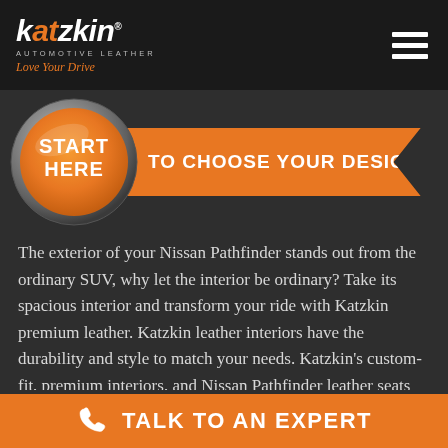katzkin AUTOMOTIVE LEATHER Love Your Drive
[Figure (infographic): Orange circle button with 'START HERE' text and chrome ring, connected to an orange ribbon banner reading 'TO CHOOSE YOUR DESIGN']
The exterior of your Nissan Pathfinder stands out from the ordinary SUV, why let the interior be ordinary? Take its spacious interior and transform your ride with Katzkin premium leather. Katzkin leather interiors have the durability and style to match your needs. Katzkin’s custom-fit, premium interiors, and Nissan Pathfinder leather seats are created to transform
TALK TO AN EXPERT